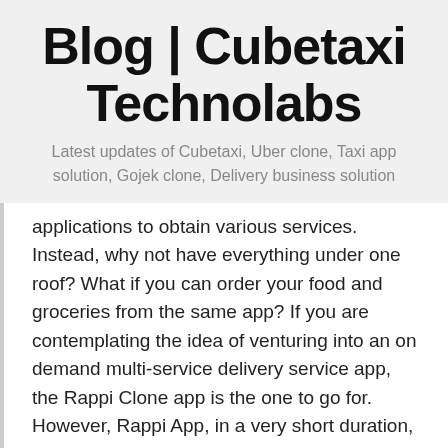Blog | Cubetaxi Technolabs
Latest updates of Cubetaxi, Uber clone, Taxi app solution, Gojek clone, Delivery business solution
applications to obtain various services. Instead, why not have everything under one roof? What if you can order your food and groceries from the same app? If you are contemplating the idea of venturing into an on demand multi-service delivery service app, the Rappi Clone app is the one to go for. However, Rappi App, in a very short duration, has become an established brand and for this reason, it has become the most preferred business idea for startup businesses.